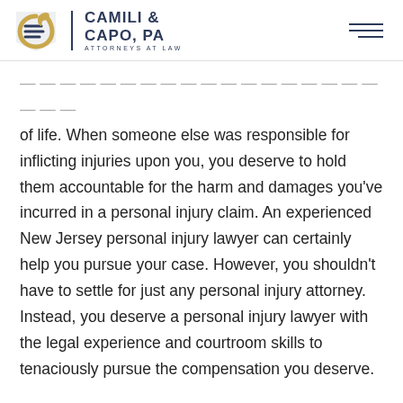Camili & Capo, PA — Attorneys at Law
of life. When someone else was responsible for inflicting injuries upon you, you deserve to hold them accountable for the harm and damages you've incurred in a personal injury claim. An experienced New Jersey personal injury lawyer can certainly help you pursue your case. However, you shouldn't have to settle for just any personal injury attorney. Instead, you deserve a personal injury lawyer with the legal experience and courtroom skills to tenaciously pursue the compensation you deserve.